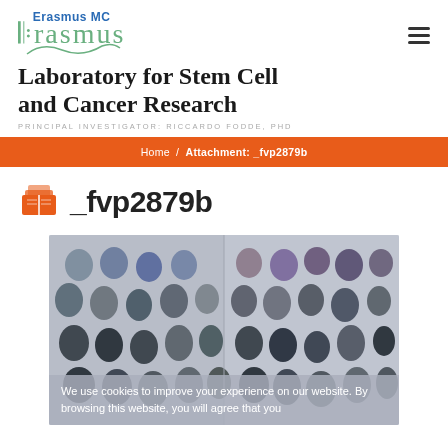[Figure (logo): Erasmus MC Erasmus logo with stylized script text]
Laboratory for Stem Cell and Cancer Research
PRINCIPAL INVESTIGATOR: RICCARDO FODDE, PHD
Home / Attachment: _fvp2879b
_fvp2879b
[Figure (photo): Audience in a lecture hall, many people seated, looking toward a presentation]
We use cookies to improve your experience on our website. By browsing this website, you will agree that you